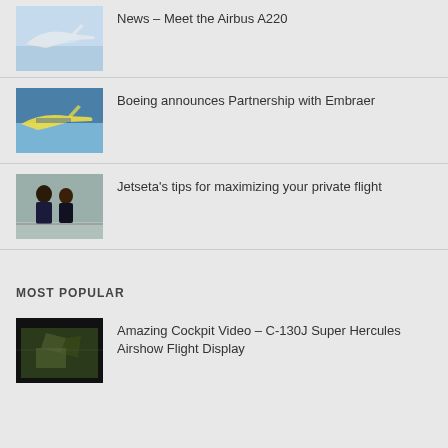News – Meet the Airbus A220
Boeing announces Partnership with Embraer
Jetseta's tips for maximizing your private flight
MOST POPULAR
Amazing Cockpit Video – C-130J Super Hercules Airshow Flight Display